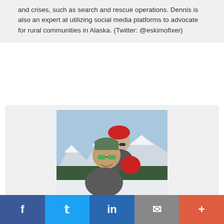and crises, such as search and rescue operations. Dennis is also an expert at utilizing social media platforms to advocate for rural communities in Alaska. (Twitter: @eskimofixer)
[Figure (photo): Two people in winter outdoor clothing (one wearing a red beanie and sunglasses, one wearing a green hat and green-lensed sunglasses) taking a selfie with a snowy landscape and mountains in the background.]
Kaare Sikuaq Erickson
Ikaaġun Engagement, LLC
Anchorage, AK
United States